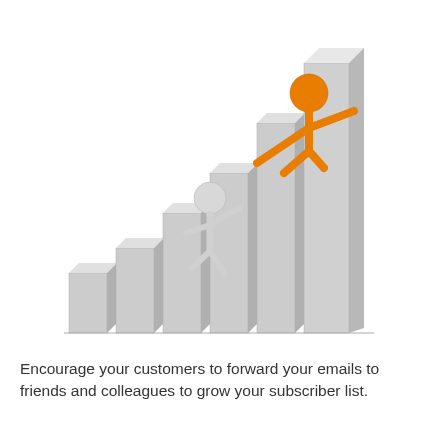[Figure (illustration): 3D illustration of two stick figures climbing a rising bar chart. A white/gray stick figure at the lower left is climbing up and reaching out its hand. An orange stick figure at the upper right is standing on a tall bar near the top of the chart and reaching down to help pull up the white figure. The bar chart has 6 ascending bars rendered in 3D perspective.]
Encourage your customers to forward your emails to friends and colleagues to grow your subscriber list.